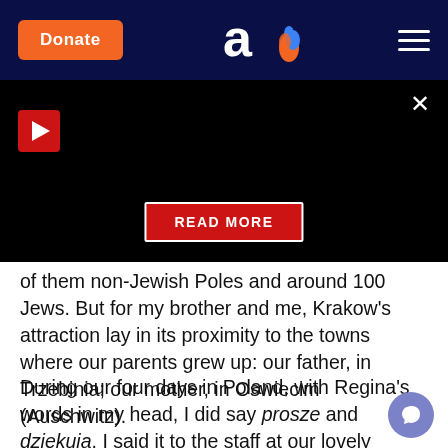[Figure (screenshot): Website header with dark navy background, orange Donate button on left, Aish.com logo (letter 'a' with flame) in center, hamburger menu icon on right]
[Figure (screenshot): Black video panel with red play button (triangle) top left, X close button top right, and red READ MORE button centered at bottom]
of them non-Jewish Poles and around 100 Jews. But for my brother and me, Krakow's attraction lay in its proximity to the towns where our parents grew up: our father, in Trzebinia; our mother, in Oswiecim (Auschwitz).
During our four days in Poland, with Regina's words in my head, I did say prosze and dziekuja. I said it to the staff at our lovely boutique hotel which overlooks the newly chic Szeroka Square in the Kazimierz, the Jewish